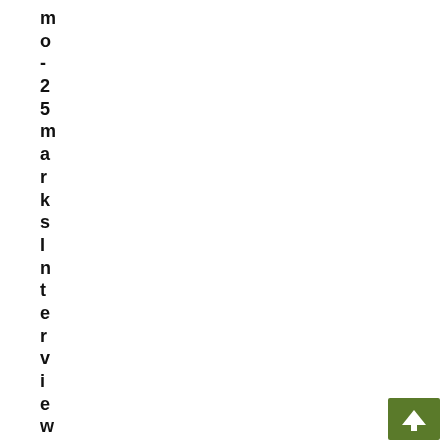mo-25 marks interview-25 ma
[Figure (other): Green button with white upward arrow icon]